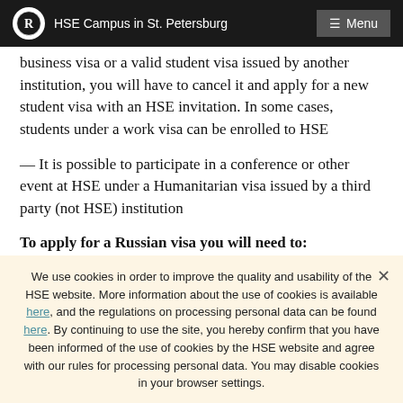HSE Campus in St. Petersburg
business visa or a valid student visa issued by another institution, you will have to cancel it and apply for a new student visa with an HSE invitation. In some cases, students under a work visa can be enrolled to HSE
— It is possible to participate in a conference or other event at HSE under a Humanitarian visa issued by a third party (not HSE) institution
To apply for a Russian visa you will need to:
— an official invitation from HSE St...
We use cookies in order to improve the quality and usability of the HSE website. More information about the use of cookies is available here, and the regulations on processing personal data can be found here. By continuing to use the site, you hereby confirm that you have been informed of the use of cookies by the HSE website and agree with our rules for processing personal data. You may disable cookies in your browser settings.